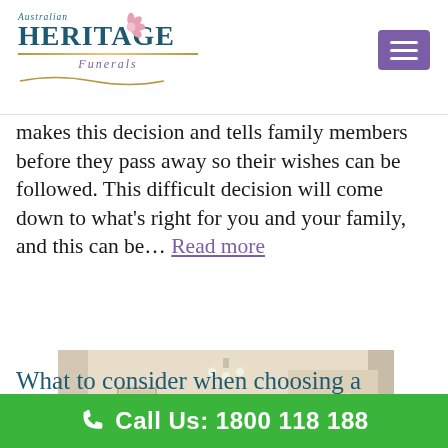Australian Heritage Funerals
makes this decision and tells family members before they pass away so their wishes can be followed. This difficult decision will come down to what's right for you and your family, and this can be… Read more
[Figure (photo): Interior of a funeral chapel with rows of white chairs with red cushions, warm lighting, chandelier, artwork on walls, and a front altar area.]
What to consider when choosing a
Call Us: 1800 118 188